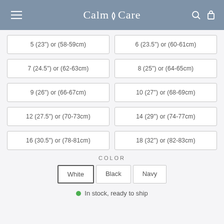CalmCare
| 5 (23") or (58-59cm) | 6 (23.5") or (60-61cm) |
| 7 (24.5") or (62-63cm) | 8 (25") or (64-65cm) |
| 9 (26") or (66-67cm) | 10 (27") or (68-69cm) |
| 12 (27.5") or (70-73cm) | 14 (29") or (74-77cm) |
| 16 (30.5") or (78-81cm) | 18 (32") or (82-83cm) |
COLOR
White
Black
Navy
In stock, ready to ship